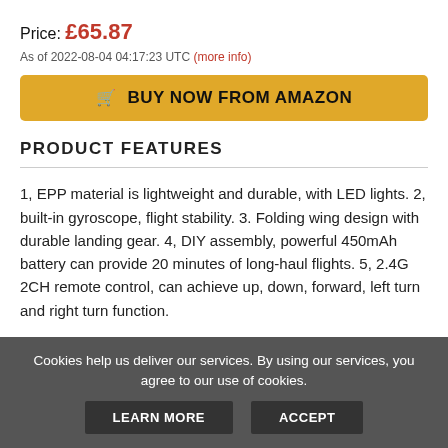Price: £65.87
As of 2022-08-04 04:17:23 UTC (more info)
🛒 BUY NOW FROM AMAZON
PRODUCT FEATURES
1, EPP material is lightweight and durable, with LED lights. 2, built-in gyroscope, flight stability. 3. Folding wing design with durable landing gear. 4, DIY assembly, powerful 450mAh battery can provide 20 minutes of long-haul flights. 5, 2.4G 2CH remote control, can achieve up, down, forward, left turn and right turn function.
Cookies help us deliver our services. By using our services, you agree to our use of cookies.